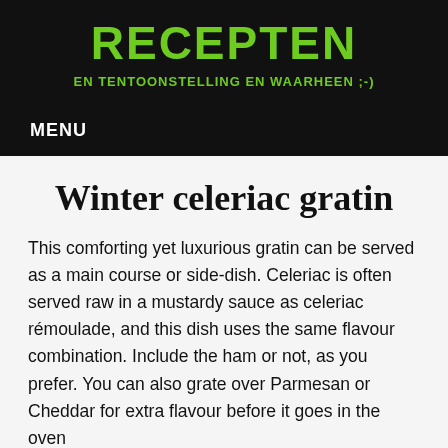RECEPTEN
EN TENTOONSTELLING EN WAARHEEN ;-)
MENU
Winter celeriac gratin
This comforting yet luxurious gratin can be served as a main course or side-dish. Celeriac is often served raw in a mustardy sauce as celeriac rémoulade, and this dish uses the same flavour combination. Include the ham or not, as you prefer. You can also grate over Parmesan or Cheddar for extra flavour before it goes in the oven